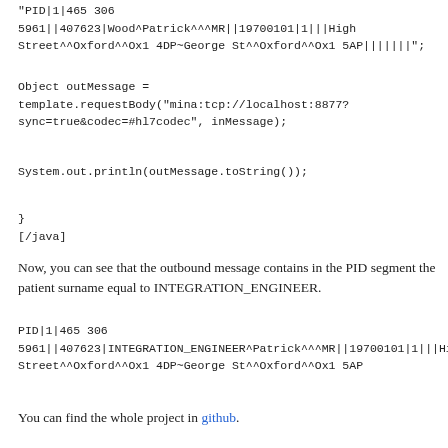"PID|1|465 306 5961||407623|Wood^Patrick^^^MR||19700101|1|||High Street^^Oxford^^Ox1 4DP~George St^^Oxford^^Ox1 5AP|||||||";
Object outMessage = template.requestBody("mina:tcp://localhost:8877?sync=true&codec=#hl7codec", inMessage);
System.out.println(outMessage.toString());
}
[/java]
Now, you can see that the outbound message contains in the PID segment the patient surname equal to INTEGRATION_ENGINEER.
PID|1|465 306 5961||407623|INTEGRATION_ENGINEER^Patrick^^^MR||19700101|1|||High Street^^Oxford^^Ox1 4DP~George St^^Oxford^^Ox1 5AP
You can find the whole project in github.